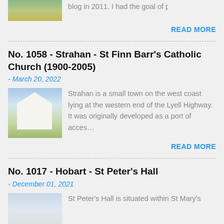[Figure (photo): Partial view of a building/church photo at the top of the page, cut off]
blog in 2011. I had the goal of photographi…
READ MORE
No. 1058 - Strahan - St Finn Barr's Catholic Church (1900-2005)
- March 20, 2022
[Figure (photo): Photo of St Finn Barr's Catholic Church in Strahan — a white wooden church building with a pointed roof against a blue sky]
Strahan is a small town on the west coast lying at the western end of the Lyell Highway. It was originally developed as a port of acces…
READ MORE
No. 1017 - Hobart - St Peter's Hall
- December 01, 2021
[Figure (photo): Partial photo of St Peter's Hall building, cut off at bottom of page]
St Peter's Hall is situated within St Mary's